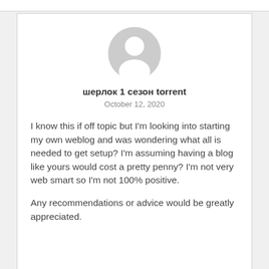[Figure (illustration): Generic grey user avatar icon — circle head with rounded body silhouette]
шерлок 1 сезон torrent
October 12, 2020
I know this if off topic but I'm looking into starting my own weblog and was wondering what all is needed to get setup? I'm assuming having a blog like yours would cost a pretty penny? I'm not very web smart so I'm not 100% positive.
Any recommendations or advice would be greatly appreciated.